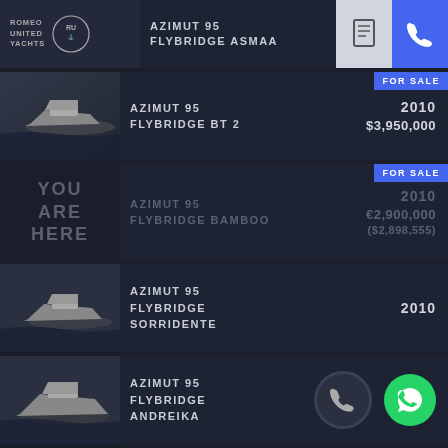ROMEO UNITED YACHTS | AZIMUT 95 FLYBRIDGE ASMAA
[Figure (screenshot): Top listing row partially visible: Romeo United Yachts logo, Azimut 95 Flybridge Asmaa, with PDF and phone action buttons]
FOR SALE | AZIMUT 95 FLYBRIDGE BT 2 | 2010 | $3,950,000
[Figure (photo): Black and white aerial photo of Azimut 95 flybridge yacht on water]
FOR SALE | AZIMUT 95 FLYBRIDGE BAMBOO | 2010 | €2,900,000 ($2,898,555)
YOU ARE HERE
AZIMUT 95 FLYBRIDGE SORRIDENTE | 2010
[Figure (photo): Black and white aerial photo of Azimut 95 flybridge yacht on water]
AZIMUT 95 FLYBRIDGE ANDREIKA
[Figure (photo): Black and white aerial photo of Azimut 95 flybridge yacht on water]